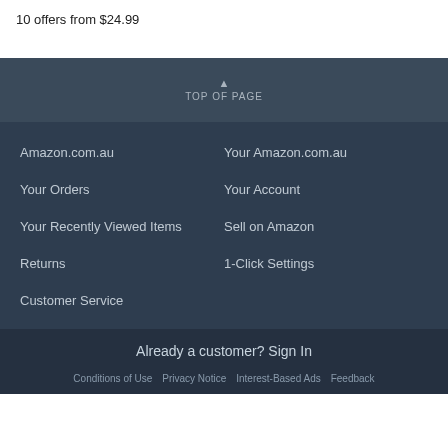10 offers from $24.99
TOP OF PAGE
Amazon.com.au
Your Amazon.com.au
Your Orders
Your Account
Your Recently Viewed Items
Sell on Amazon
Returns
1-Click Settings
Customer Service
Already a customer? Sign In
Conditions of Use   Privacy Notice   Interest-Based Ads   Feedback